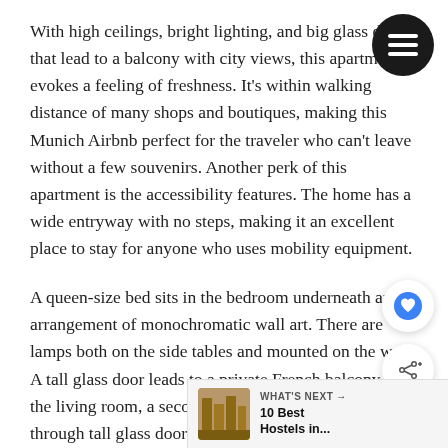With high ceilings, bright lighting, and big glass doors that lead to a balcony with city views, this apartment evokes a feeling of freshness. It's within walking distance of many shops and boutiques, making this Munich Airbnb perfect for the traveler who can't leave without a few souvenirs. Another perk of this apartment is the accessibility features. The home has a wide entryway with no steps, making it an excellent place to stay for anyone who uses mobility equipment.
A queen-size bed sits in the bedroom underneath an arrangement of monochromatic wall art. There are lamps both on the side tables and mounted on the wall. A tall glass door leads to a private French balcony. In the living room, a second balcony also accessible through tall glass doors, and there's a wall-mounted TV and a coffee table. The couch also converts into a bed that can sleep two more people.
[Figure (other): Circular black menu/hamburger button icon in top right corner]
[Figure (other): Circular white heart/favorite button icon on right side]
[Figure (other): Circular white share button icon on right side]
[Figure (other): What's Next banner at bottom right showing '10 Best Hostels in...' with a thumbnail image]